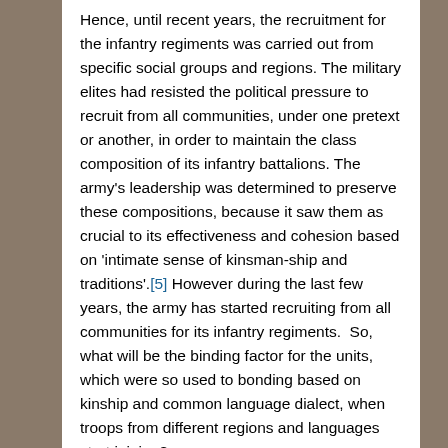Hence, until recent years, the recruitment for the infantry regiments was carried out from specific social groups and regions. The military elites had resisted the political pressure to recruit from all communities, under one pretext or another, in order to maintain the class composition of its infantry battalions. The army's leadership was determined to preserve these compositions, because it saw them as crucial to its effectiveness and cohesion based on 'intimate sense of kinsman-ship and traditions'.[5] However during the last few years, the army has started recruiting from all communities for its infantry regiments.  So, what will be the binding factor for the units, which were so used to bonding based on kinship and common language dialect, when troops from different regions and languages start joining?